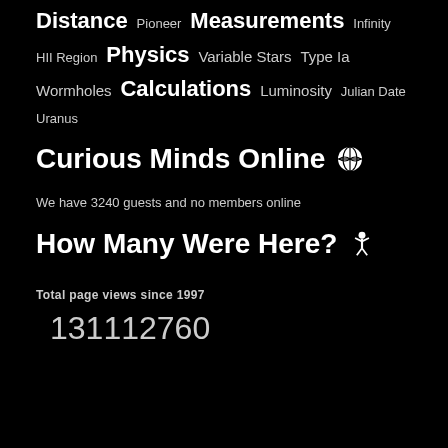Distance Pioneer Measurements Infinity HII Region Physics Variable Stars Type Ia Wormholes Calculations Luminosity Julian Date Uranus
Curious Minds Online 🌍
We have 3240 guests and no members online
How Many Were Here? 🧍
Total page views since 1997
131112760